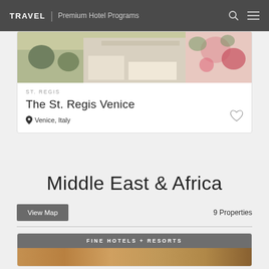TRAVEL | Premium Hotel Programs
ST. REGIS
The St. Regis Venice
Venice, Italy
Middle East & Africa
View Map
9 Properties
FINE HOTELS + RESORTS